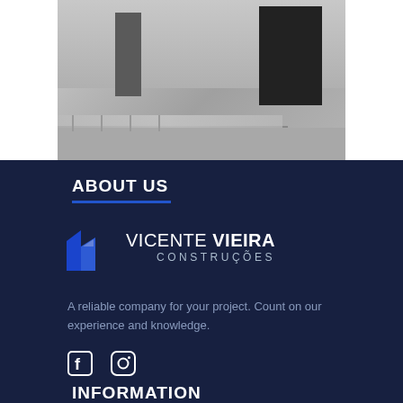[Figure (photo): Photograph of a building exterior showing walls, a dark door/entrance on the left, a large dark opening on the right, and a railing/balcony at the bottom]
ABOUT US
[Figure (logo): Vicente Vieira Construções logo with blue building icon and company name in white text]
A reliable company for your project. Count on our experience and knowledge.
[Figure (other): Social media icons: Facebook and Instagram]
INFORMATION